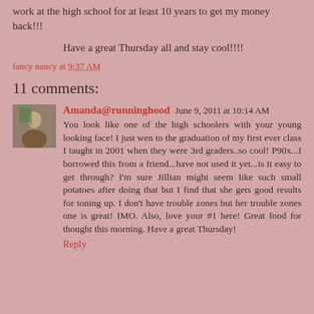work at the high school for at least 10 years to get my money back!!!
Have a great Thursday all and stay cool!!!!
fancy nancy at 9:37 AM
11 comments:
Amanda@runninghood June 9, 2011 at 10:14 AM
You look like one of the high schoolers with your young looking face! I just wen to the graduation of my first ever class I taught in 2001 when they were 3rd graders..so cool! P90x...I borrowed this from a friend...have not used it yet...is it easy to get through? I'm sure Jillian might seem like such small potatoes after doing that but I find that she gets good results for toning up. I don't have trouble zones but her trouble zones one is great! IMO. Also, love your #1 here! Great food for thought this morning. Have a great Thursday!
Reply